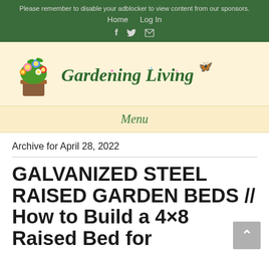Please remember to disable your adblocker to view content from our sponsors.
Home   Log In
f  Twitter  Mail
[Figure (logo): Gardening Living logo with colorful flower pot illustration and green cursive text 'Gardening Living' with butterfly decoration]
Menu
Archive for April 28, 2022
GALVANIZED STEEL RAISED GARDEN BEDS // How to Build a 4x8 Raised Bed for